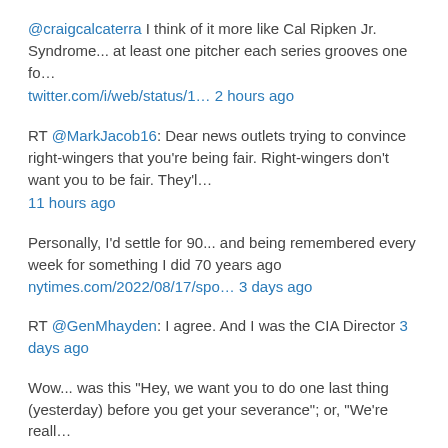@craigcalcaterra I think of it more like Cal Ripken Jr. Syndrome... at least one pitcher each series grooves one fo… twitter.com/i/web/status/1… 2 hours ago
RT @MarkJacob16: Dear news outlets trying to convince right-wingers that you're being fair. Right-wingers don't want you to be fair. They'l… 11 hours ago
Personally, I'd settle for 90... and being remembered every week for something I did 70 years ago nytimes.com/2022/08/17/spo… 3 days ago
RT @GenMhayden: I agree. And I was the CIA Director 3 days ago
Wow... was this "Hey, we want you to do one last thing (yesterday) before you get your severance"; or, "We're reall… twitter.com/i/web/status/1… 4 days ago
Follow @StephenSType1